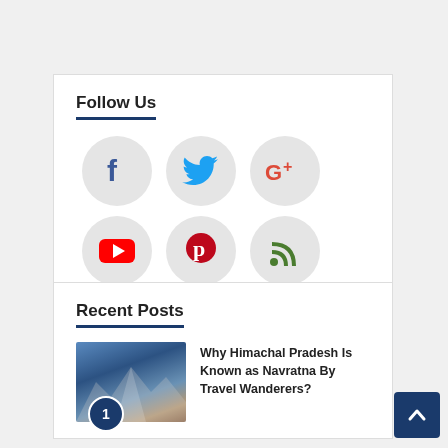Follow Us
[Figure (infographic): Grid of 6 social media icons in circular grey backgrounds: Facebook (blue f), Twitter (blue bird), Google+ (red/orange G+), YouTube (red play button), Pinterest (red P), RSS (green wifi signal)]
Recent Posts
[Figure (photo): Mountain landscape photo with blue sky, showing snowy peaks. Has a blue circle badge with number 1.]
Why Himachal Pradesh Is Known as Navratna By Travel Wanderers?